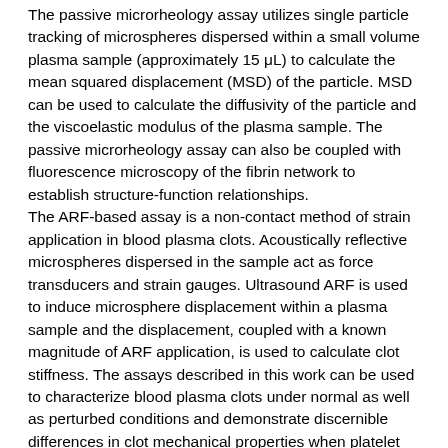The passive microrheology assay utilizes single particle tracking of microspheres dispersed within a small volume plasma sample (approximately 15 μL) to calculate the mean squared displacement (MSD) of the particle. MSD can be used to calculate the diffusivity of the particle and the viscoelastic modulus of the plasma sample. The passive microrheology assay can also be coupled with fluorescence microscopy of the fibrin network to establish structure-function relationships.
The ARF-based assay is a non-contact method of strain application in blood plasma clots. Acoustically reflective microspheres dispersed in the sample act as force transducers and strain gauges. Ultrasound ARF is used to induce microsphere displacement within a plasma sample and the displacement, coupled with a known magnitude of ARF application, is used to calculate clot stiffness. The assays described in this work can be used to characterize blood plasma clots under normal as well as perturbed conditions and demonstrate discernible differences in clot mechanical properties when platelet and fibrin polymerization inhibitors are used.
Degree: